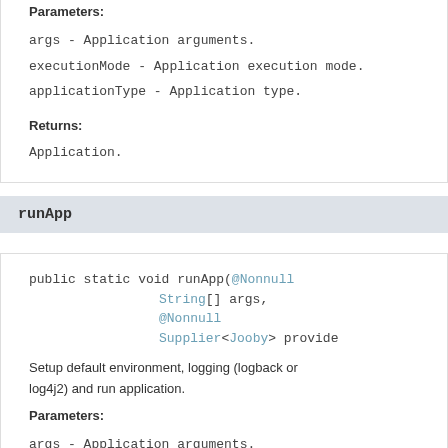Parameters:
args - Application arguments.
executionMode - Application execution mode.
applicationType - Application type.
Returns:
Application.
runApp
public static void runApp(@Nonnull String[] args, @Nonnull Supplier<Jooby> provide
Setup default environment, logging (logback or log4j2) and run application.
Parameters:
args - Application arguments.